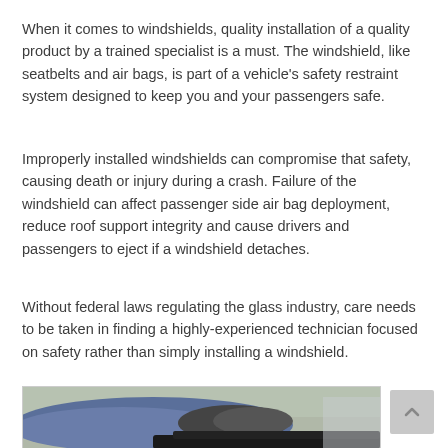When it comes to windshields, quality installation of a quality product by a trained specialist is a must. The windshield, like seatbelts and air bags, is part of a vehicle's safety restraint system designed to keep you and your passengers safe.
Improperly installed windshields can compromise that safety, causing death or injury during a crash. Failure of the windshield can affect passenger side air bag deployment, reduce roof support integrity and cause drivers and passengers to eject if a windshield detaches.
Without federal laws regulating the glass industry, care needs to be taken in finding a highly-experienced technician focused on safety rather than simply installing a windshield.
[Figure (photo): A technician wearing dark gloves installing a windshield, showing hands gripping the rubber seal of a vehicle windshield frame.]